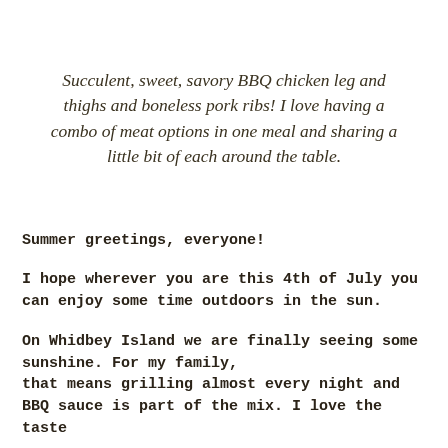Succulent, sweet, savory BBQ chicken leg and thighs and boneless pork ribs! I love having a combo of meat options in one meal and sharing a little bit of each around the table.
Summer greetings, everyone!
I hope wherever you are this 4th of July you can enjoy some time outdoors in the sun.
On Whidbey Island we are finally seeing some sunshine. For my family, that means grilling almost every night and BBQ sauce is part of the mix. I love the taste